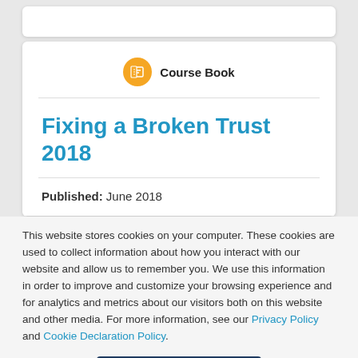Course Book
Fixing a Broken Trust 2018
Published: June 2018
This website stores cookies on your computer. These cookies are used to collect information about how you interact with our website and allow us to remember you. We use this information in order to improve and customize your browsing experience and for analytics and metrics about our visitors both on this website and other media. For more information, see our Privacy Policy and Cookie Declaration Policy.
I understand